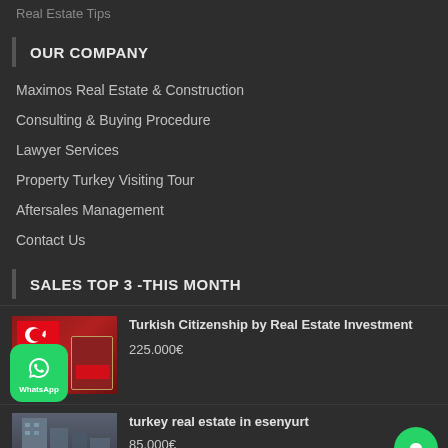Real Estate Tips
OUR COMPANY
Maximos Real Estate & Construction
Consulting & Buying Procedure
Lawyer Services
Property Turkey Visiting Tour
Aftersales Management
Contact Us
SALES TOP 3 -THIS MONTH
[Figure (photo): Turkish flag and passport image for Turkish Citizenship by Real Estate Investment listing]
Turkish Citizenship by Real Estate Investment
225.000€
[Figure (photo): Turkey real estate in esenyurt building image]
turkey real estate in esenyurt
85.000€